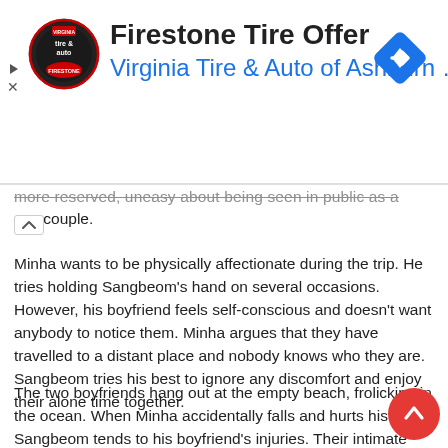[Figure (screenshot): Advertisement banner for Firestone Tire Offer by Virginia Tire & Auto of Ashburn. Contains a circular logo with 'tire & auto' text, a navigation diamond icon, play/close controls on the left side.]
more reserved, uneasy about being seen in public as a gay couple.
Minha wants to be physically affectionate during the trip. He tries holding Sangbeom's hand on several occasions. However, his boyfriend feels self-conscious and doesn't want anybody to notice them. Minha argues that they have travelled to a distant place and nobody knows who they are. Sangbeom tries his best to ignore any discomfort and enjoy their alone time together.
The two boyfriends hang out at the empty beach, frolicking in the ocean. When Minha accidentally falls and hurts his hand, Sangbeom tends to his boyfriend's injuries. Their intimate moment prompts a kiss between them. Afterwards, they fo... up by locking lips again, making out passionately by the s...